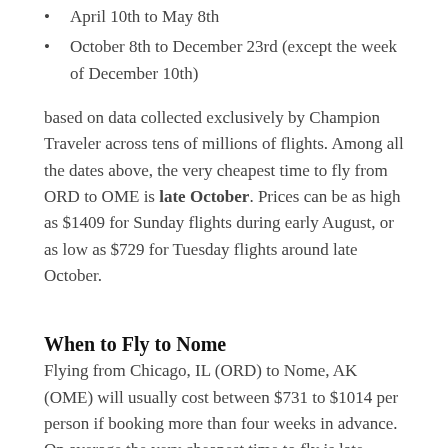April 10th to May 8th
October 8th to December 23rd (except the week of December 10th)
based on data collected exclusively by Champion Traveler across tens of millions of flights. Among all the dates above, the very cheapest time to fly from ORD to OME is late October. Prices can be as high as $1409 for Sunday flights during early August, or as low as $729 for Tuesday flights around late October.
When to Fly to Nome
Flying from Chicago, IL (ORD) to Nome, AK (OME) will usually cost between $731 to $1014 per person if booking more than four weeks in advance. On average the very cheapest time to fly is late October with an average ticket price of $745. Due to high demand the most expensive time to fly is early August, with an average price of $1409. Planning a trip to Nome on a time...